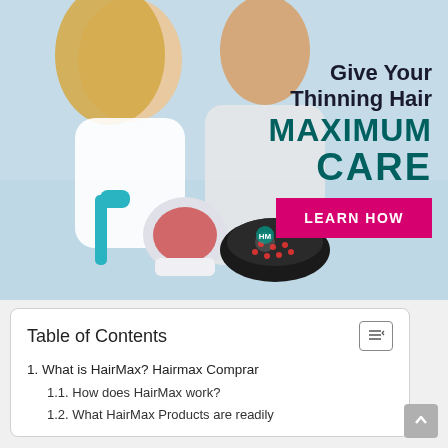[Figure (photo): Advertisement banner for HairMax showing a smiling couple (woman with blonde hair, man in white shirt) at a beach, with HairMax laser hair growth devices in front. Text overlay reads 'Give Your Thinning Hair MAXIMUM CARE' with a pink 'LEARN HOW' button.]
Table of Contents
1. What is HairMax? Hairmax Comprar
1.1. How does HairMax work?
1.2. What HairMax Products are readily